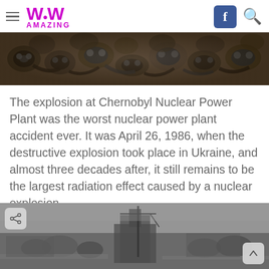WoW AMAZING
[Figure (photo): Pile of gas masks and rubber hoses, dark dystopian image associated with Chernobyl disaster]
The explosion at Chernobyl Nuclear Power Plant was the worst nuclear power plant accident ever. It was April 26, 1986, when the destructive explosion took place in Ukraine, and almost three decades after, it still remains to be the largest radiation effect caused by a nuclear explosion.
[Figure (photo): Aerial black and white photograph of Chernobyl Nuclear Power Plant after explosion, showing damaged reactor building and surroundings]